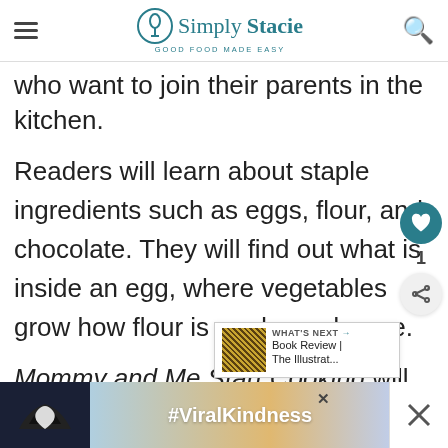Simply Stacie — Good Food Made Easy
who want to join their parents in the kitchen.
Readers will learn about staple ingredients such as eggs, flour, and chocolate. They will find out what is inside an egg, where vegetables grow how flour is made, and more.
Mommy and Me Start Cooking will educate and entertain, and is a fun way for families to spend time together.
[Figure (screenshot): Advertisement banner with #ViralKindness hashtag and heart hands silhouette]
[Figure (infographic): What's Next callout: Book Review | The Illustrat...]